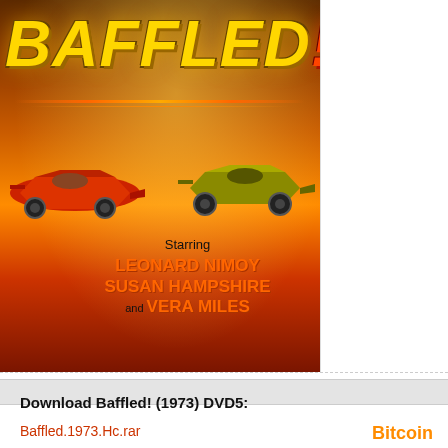[Figure (illustration): Movie poster for 'Baffled!' (1973) featuring yellow stylized bold title text, two Formula 1 racing cars (red on left, yellow-green on right), and text listing starring actors: Leonard Nimoy, Susan Hampshire, and Vera Miles]
Download Baffled! (1973) DVD5:
Baffled.1973.Hc.rar
Did you like this?
Tip movieworld with Crypto
Bitcoin